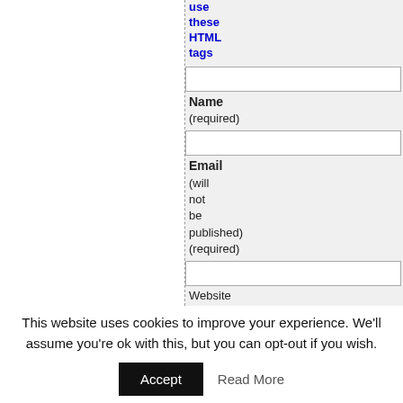use these HTML tags
Name (required)
Email (will not be published) (required)
Website
Save my name, email,
This website uses cookies to improve your experience. We'll assume you're ok with this, but you can opt-out if you wish.
Accept
Read More